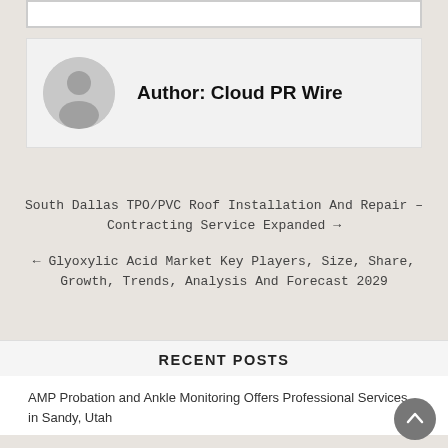[Figure (other): Author avatar placeholder – grey silhouette of a person on a grey circle background]
Author: Cloud PR Wire
South Dallas TPO/PVC Roof Installation And Repair – Contracting Service Expanded →
← Glyoxylic Acid Market Key Players, Size, Share, Growth, Trends, Analysis And Forecast 2029
RECENT POSTS
AMP Probation and Ankle Monitoring Offers Professional Services in Sandy, Utah